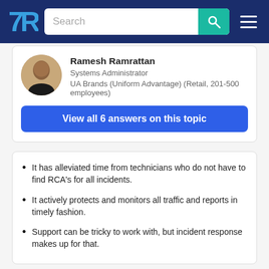TrustRadius — Search bar and navigation
Ramesh Ramrattan
Systems Administrator
UA Brands (Uniform Advantage) (Retail, 201-500 employees)
View all 6 answers on this topic
It has alleviated time from technicians who do not have to find RCA's for all incidents.
It actively protects and monitors all traffic and reports in timely fashion.
Support can be tricky to work with, but incident response makes up for that.